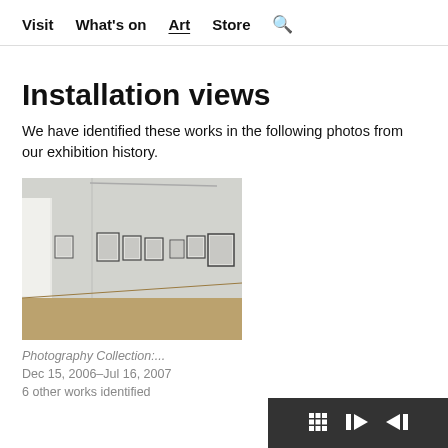Visit   What's on   Art   Store   🔍
Installation views
We have identified these works in the following photos from our exhibition history.
[Figure (photo): Gallery installation view showing framed photographs hung on white walls in a corner of a gallery room with wood flooring]
Photography Collection:...
Dec 15, 2006–Jul 16, 2007
6 other works identified